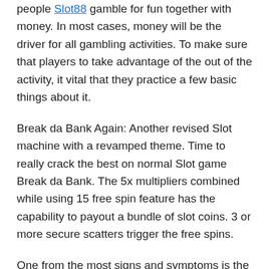people Slot88 gamble for fun together with money. In most cases, money will be the driver for all gambling activities. To make sure that players to take advantage of the out of the activity, it vital that they practice a few basic things about it.
Break da Bank Again: Another revised Slot machine with a revamped theme. Time to really crack the best on normal Slot game Break da Bank. The 5x multipliers combined while using 15 free spin feature has the capability to payout a bundle of slot coins. 3 or more secure scatters trigger the free spins.
One from the most signs and symptoms is the desire to gamble more. Activity . lose a game, thus losing money, you retain the urge to obtain it back and start Gambling again. It really is a perpetual difficulty to those who are hooked on Gambling.
The more usual tips do perform better in poker-online and of course, that shouldn't come as a surprise for this is because that poker players are playing the two of you and not the casino.